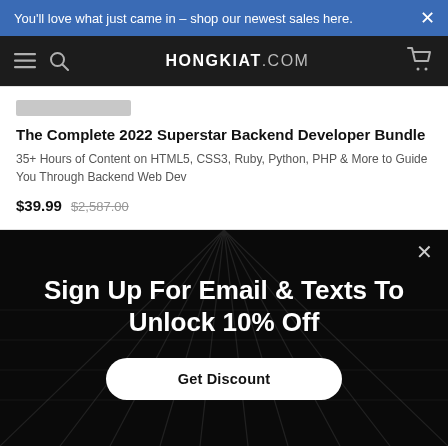You'll love what just came in - shop our newest sales here.
HONGKIAT.COM
The Complete 2022 Superstar Backend Developer Bundle
35+ Hours of Content on HTML5, CSS3, Ruby, Python, PHP & More to Guide You Through Backend Web Dev
$39.99  $2,587.00
Sign Up For Email & Texts To Unlock 10% Off
Get Discount